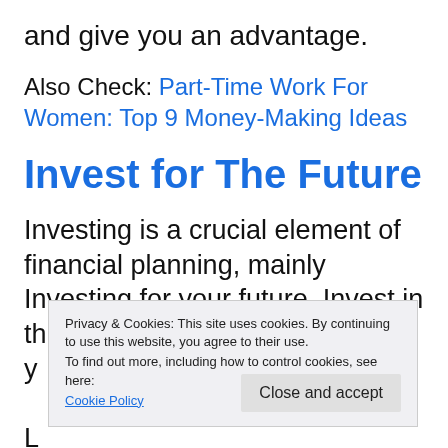and give you an advantage.
Also Check: Part-Time Work For Women: Top 9 Money-Making Ideas
Invest for The Future
Investing is a crucial element of financial planning, mainly Investing for your future. Invest in things that can help you reach y... L... s... perfect. You're not going to see the exponential growth that comes with
Privacy & Cookies: This site uses cookies. By continuing to use this website, you agree to their use.
To find out more, including how to control cookies, see here: Cookie Policy
Close and accept